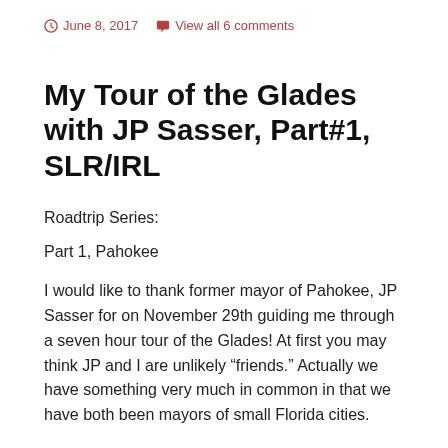June 8, 2017   View all 6 comments
My Tour of the Glades with JP Sasser, Part#1, SLR/IRL
Roadtrip Series:
Part 1, Pahokee
I would like to thank former mayor of Pahokee, JP Sasser for on November 29th guiding me through a seven hour tour of the Glades! At first you may think JP and I are unlikely “friends.” Actually we have something very much in common in that we have both been mayors of small Florida cities.